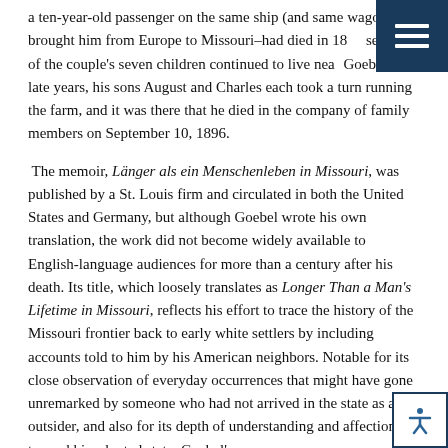a ten-year-old passenger on the same ship (and same wagon) that brought him from Europe to Missouri—had died in 18[…] several of the couple's seven children continued to live nea[r] Goebel's late years, his sons August and Charles each took a turn running the farm, and it was there that he died in the company of family members on September 10, 1896.
The memoir, Länger als ein Menschenleben in Missouri, was published by a St. Louis firm and circulated in both the United States and Germany, but although Goebel wrote his own translation, the work did not become widely available to English-language audiences for more than a century after his death. Its title, which loosely translates as Longer Than a Man's Lifetime in Missouri, reflects his effort to trace the history of the Missouri frontier back to early white settlers by including accounts told to him by his American neighbors. Notable for its close observation of everyday occurrences that might have gone unremarked by someone who had not arrived in the state as an outsider, and also for its depth of understanding and affection toward his adopted state, Goebel's